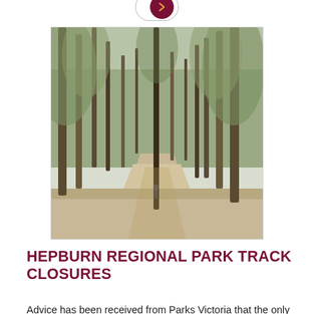[Figure (other): Partial 'Read More' button cropped at top of page, showing rounded pill button with dark red arrow circle]
[Figure (photo): Photograph of a walking track through a eucalyptus forest in Hepburn Regional Park, with tall trees on either side of a dirt path]
HEPBURN REGIONAL PARK TRACK CLOSURES
Advice has been received from Parks Victoria that the only walking tracks open in Hepburn RP are the circuit walks...
[Figure (other): Read More button — rounded pill button with 'READ MORE' text in dark red and a dark red circle containing a right-pointing arrow]